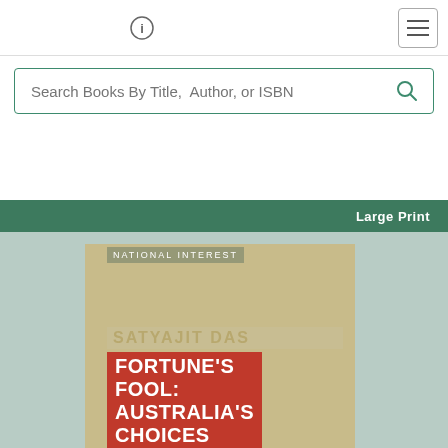[Figure (screenshot): Top navigation bar with an info icon (i) on the left and a hamburger menu button on the right]
Search Books By Title, Author, or ISBN
Advanced Search
Large Print
[Figure (photo): Book cover for 'Fortune's Fool: Australia's Choices' by Satyajit Das, published in the National Interest series. The cover features a tan/khaki background with the author's name in gold and the title in white text on a red background.]